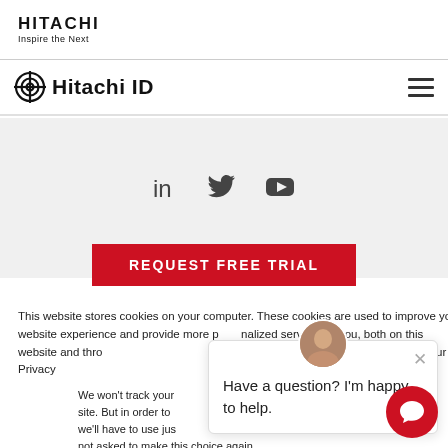HITACHI Inspire the Next
Hitachi ID
[Figure (screenshot): Social media icons: LinkedIn, Twitter, YouTube on gray background]
REQUEST FREE TRIAL
This website stores cookies on your computer. These cookies are used to improve your website experience and provide more personalized services to you, both on this website and through other media. To find out more about the cookies we use, see our Privacy Policy.
We won't track your information when you visit our site. But in order to comply with your preferences, we'll have to use just one tiny cookie so that you're not asked to make this choice again.
Accept
Decline
Have a question? I'm happy to help.